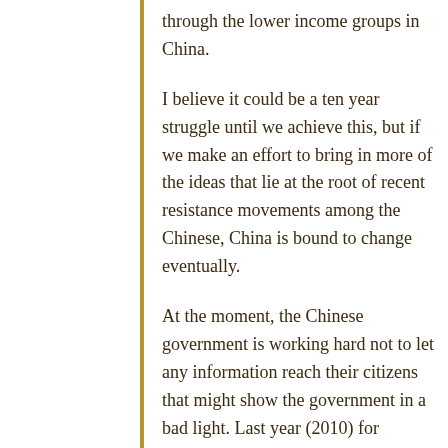through the lower income groups in China.
I believe it could be a ten year struggle until we achieve this, but if we make an effort to bring in more of the ideas that lie at the root of recent resistance movements among the Chinese, China is bound to change eventually.
At the moment, the Chinese government is working hard not to let any information reach their citizens that might show the government in a bad light. Last year (2010) for example, the Hollywood movie “Avatar” was a huge success. When the Chinese government saw “Avatar, ” in which the earth invades and exploits the blue fox-like